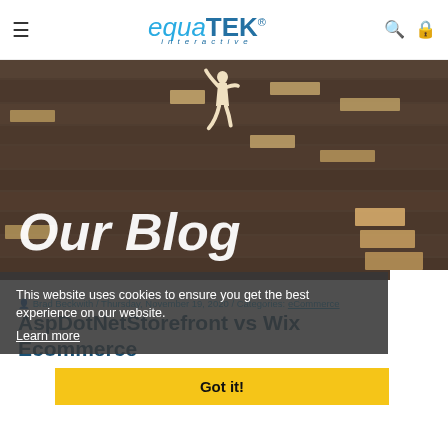equaTEK® interactive — navigation header with hamburger menu, logo, search and lock icons
[Figure (photo): Hero banner image showing a wooden background with a paper cut-out figure of a person climbing steps made of wooden blocks, with the text 'Our Blog' overlaid in large white italic font]
This website uses cookies to ensure you get the best experience on our website.
Learn more
Got it!
Brad Beckwith / Thursday, November 19, 2020 / Categories: eCommerce
AspDotNetStorefront vs Wix Ecommerce